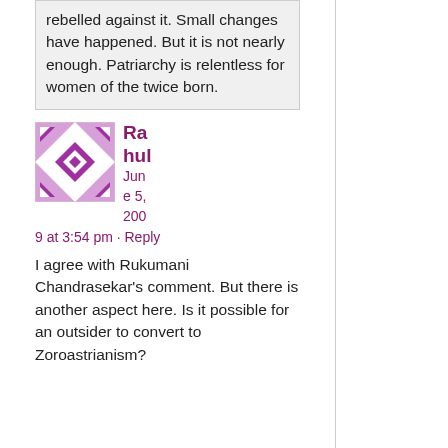rebelled against it. Small changes have happened. But it is not nearly enough. Patriarchy is relentless for women of the twice born.
Rahul
June 5, 2009 at 3:54 pm · Reply
I agree with Rukumani Chandrasekar's comment. But there is another aspect here. Is it possible for an outsider to convert to Zoroastrianism? If so, that...